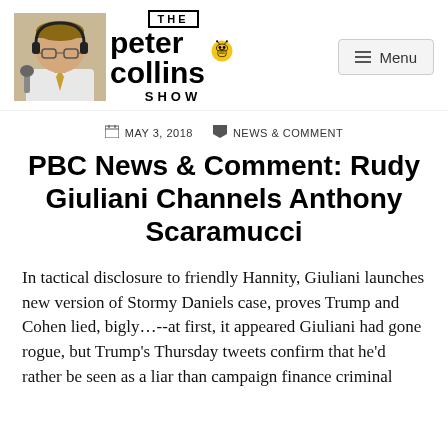[Figure (logo): The Peter Collins Show logo with photo of host wearing headphones, bee mascot, and hamburger menu button]
MAY 3, 2018  NEWS & COMMENT
PBC News & Comment: Rudy Giuliani Channels Anthony Scaramucci
In tactical disclosure to friendly Hannity, Giuliani launches new version of Stormy Daniels case, proves Trump and Cohen lied, bigly…--at first, it appeared Giuliani had gone rogue, but Trump's Thursday tweets confirm that he'd rather be seen as a liar than campaign finance criminal